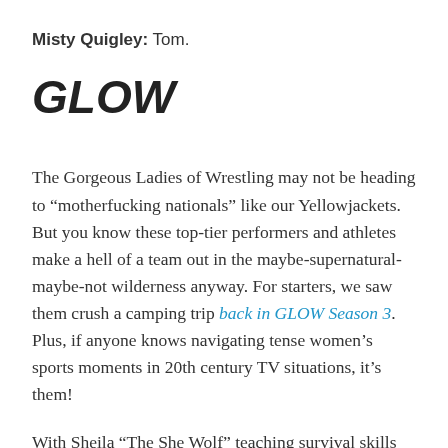Misty Quigley: Tom.
GLOW
The Gorgeous Ladies of Wrestling may not be heading to “motherfucking nationals” like our Yellowjackets. But you know these top-tier performers and athletes make a hell of a team out in the maybe-supernatural-maybe-not wilderness anyway. For starters, we saw them crush a camping trip back in GLOW Season 3. Plus, if anyone knows navigating tense women’s sports moments in 20th century TV situations, it’s them!
With Sheila “The She Wolf” teaching survival skills and